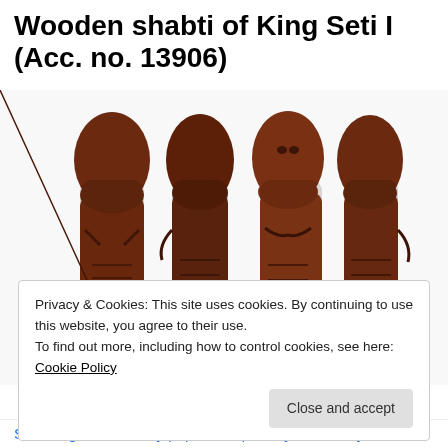Wooden shabti of King Seti I (Acc. no. 13906)
[Figure (photo): Four views of a wooden shabti figurine of King Seti I, showing front, side, and back perspectives. The figurines are dark reddish-brown wood with carved details including crossed arms, mummy wrappings, and hieroglyphic inscriptions.]
Privacy & Cookies: This site uses cookies. By continuing to use this website, you agree to their use.
To find out more, including how to control cookies, see here: Cookie Policy
Shabti figures are very popular, especially when they